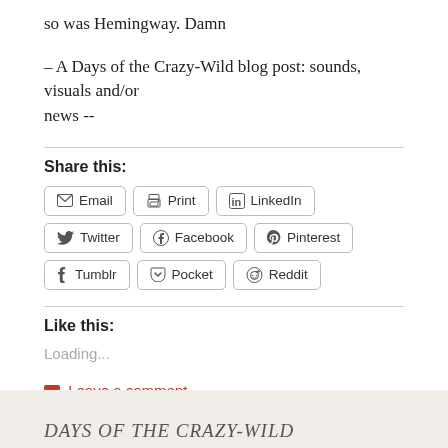so was Hemingway. Damn
– A Days of the Crazy-Wild blog post: sounds, visuals and/or news --
Share this:
Email  Print  LinkedIn  Twitter  Facebook  Pinterest  Tumblr  Pocket  Reddit
Like this:
Loading...
Leave a comment
DAYS OF THE CRAZY-WILD